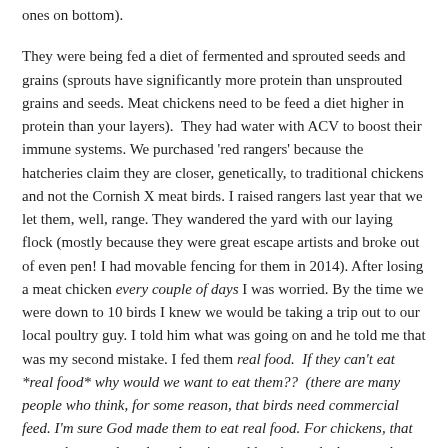ones on bottom).
They were being fed a diet of fermented and sprouted seeds and grains (sprouts have significantly more protein than unsprouted grains and seeds. Meat chickens need to be feed a diet higher in protein than your layers).  They had water with ACV to boost their immune systems. We purchased 'red rangers' because the hatcheries claim they are closer, genetically, to traditional chickens and not the Cornish X meat birds. I raised rangers last year that we let them, well, range. They wandered the yard with our laying flock (mostly because they were great escape artists and broke out of even pen! I had movable fencing for them in 2014). After losing a meat chicken every couple of days I was worried. By the time we were down to 10 birds I knew we would be taking a trip out to our local poultry guy. I told him what was going on and he told me that was my second mistake. I fed them real food.  If they can't eat *real food* why would we want to eat them??  (there are many people who think, for some reason, that birds need commercial feed. I'm sure God made them to eat real food. For chickens, that means bugs and seeds and grains and berries and whatever they find in the compost pile. Not soy and corn meal.)